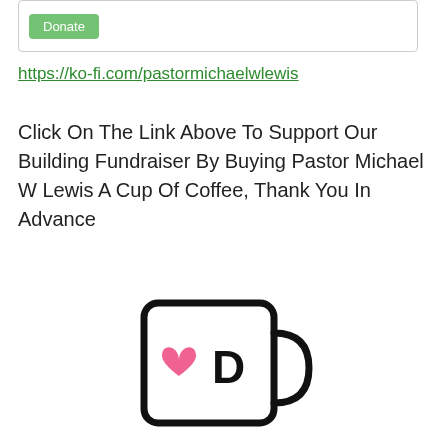[Figure (screenshot): A box with a green Donate button inside, resembling a Ko-fi widget UI element]
https://ko-fi.com/pastormichaelwlewis
Click On The Link Above To Support Our Building Fundraiser By Buying Pastor Michael W Lewis A Cup Of Coffee, Thank You In Advance
[Figure (logo): Ko-fi logo: a white mug with rounded rectangle outline, a pink heart and letter D inside, on white background]